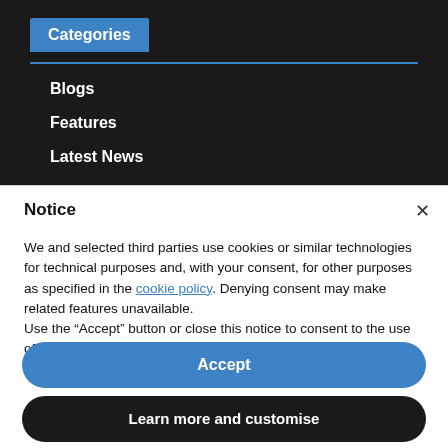Categories
Blogs
Features
Latest News
Notice
We and selected third parties use cookies or similar technologies for technical purposes and, with your consent, for other purposes as specified in the cookie policy. Denying consent may make related features unavailable.
Use the “Accept” button or close this notice to consent to the use of such technologies.
Accept
Learn more and customise